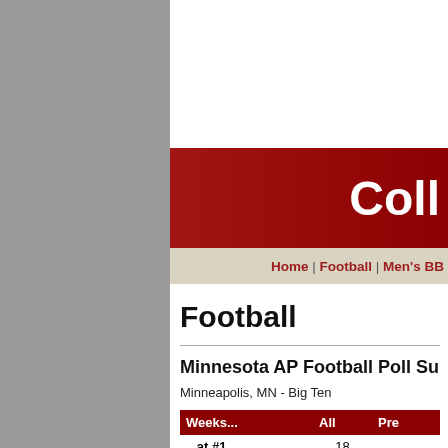[Figure (screenshot): Gray left sidebar panel]
Coll
Home | Football | Men's BB
Football
Minnesota AP Football Poll Summ
Minneapolis, MN - Big Ten
| Weeks... | All | Pre |
| --- | --- | --- |
| ...at #1 | 18 |  |
| ...at #2 | 7 |  |
|   in Top 5 | 46 |  |